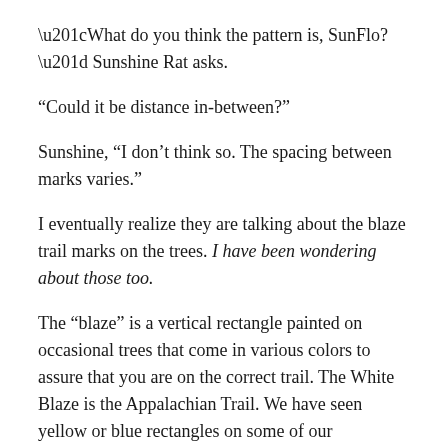“What do you think the pattern is, SunFlo?” Sunshine Rat asks.
“Could it be distance in‑between?”
Sunshine, “I don’t think so. The spacing between marks varies.”
I eventually realize they are talking about the blaze trail marks on the trees. I have been wondering about those too.
The “blaze” is a vertical rectangle painted on occasional trees that come in various colors to assure that you are on the correct trail. The White Blaze is the Appalachian Trail. We have seen yellow or blue rectangles on some of our connecting trails.